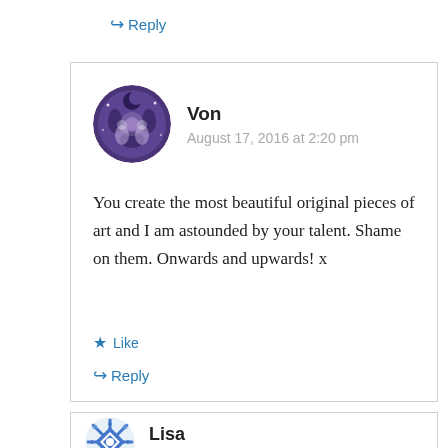↳ Reply
[Figure (illustration): Circular avatar for user 'Von' — decorative mandala-style pattern in purple and white]
Von
August 17, 2016 at 2:20 pm
You create the most beautiful original pieces of art and I am astounded by your talent. Shame on them. Onwards and upwards! x
★ Like
↳ Reply
[Figure (illustration): Circular avatar for user 'Lisa' — geometric blue and white star/snowflake pattern with rays]
Lisa
August 17, 2016 at 3:08 pm